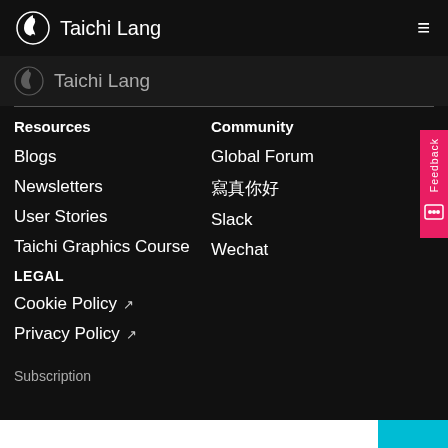Taichi Lang
[Figure (logo): Taichi Lang logo with yin-yang style icon (secondary, partially visible)]
Resources
Community
Blogs
Global Forum
Newsletters
论坛
User Stories
Slack
Taichi Graphics Course
Wechat
LEGAL
Cookie Policy ↗
Privacy Policy ↗
Subscription